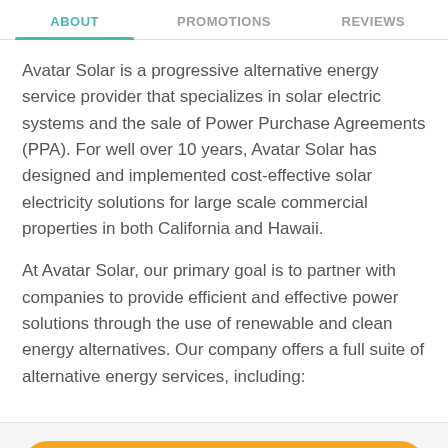ABOUT   PROMOTIONS   REVIEWS
Avatar Solar is a progressive alternative energy service provider that specializes in solar electric systems and the sale of Power Purchase Agreements (PPA). For well over 10 years, Avatar Solar has designed and implemented cost-effective solar electricity solutions for large scale commercial properties in both California and Hawaii.
At Avatar Solar, our primary goal is to partner with companies to provide efficient and effective power solutions through the use of renewable and clean energy alternatives. Our company offers a full suite of alternative energy services, including:
REQUEST A QUOTE